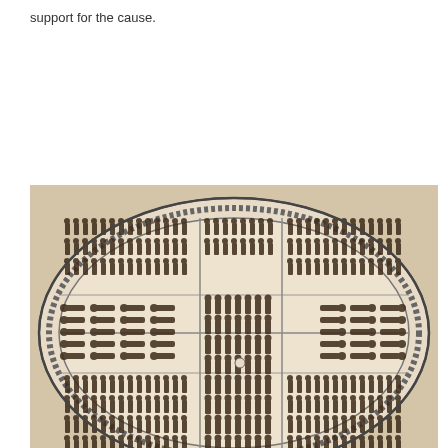support for the cause.
[Figure (illustration): Historical illustration showing a cross-section top-view diagram of a slave ship, depicting enslaved people packed tightly together in the hold of the vessel. The oval-shaped ship diagram shows rows of human figures arranged closely together, with some figures lying down and others standing. This is a reproduction of the famous Brooks slave ship diagram used by abolitionists.]